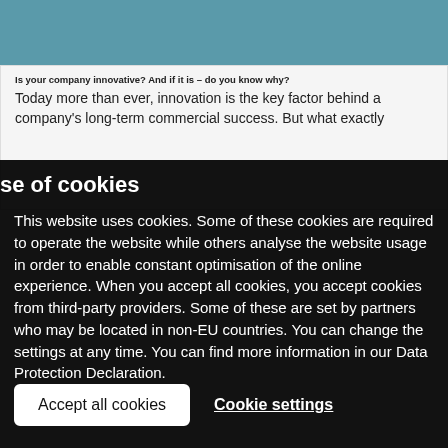[Figure (screenshot): Partial article page background showing teal/blue image strip at top and article text box below]
Is your company innovative? And if it is – do you know why?
Today more than ever, innovation is the key factor behind a company's long-term commercial success. But what exactly
se of cookies
This website uses cookies. Some of these cookies are required to operate the website while others analyse the website usage in order to enable constant optimisation of the online experience. When you accept all cookies, you accept cookies from third-party providers. Some of these are set by partners who may be located in non-EU countries. You can change the settings at any time. You can find more information in our Data Protection Declaration.
Accept all cookies
Cookie settings